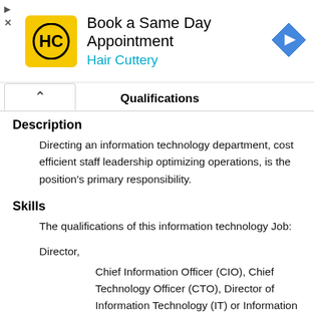[Figure (illustration): Hair Cuttery advertisement banner with HC logo in yellow square, text 'Book a Same Day Appointment' and 'Hair Cuttery', blue navigation arrow diamond icon]
Qualifications
Description
Directing an information technology department, cost efficient staff leadership optimizing operations, is the position's primary responsibility.
Skills
The qualifications of this information technology Job:
Director,
Chief Information Officer (CIO), Chief Technology Officer (CTO), Director of Information Technology (IT) or Information Technology (IT) Vice President